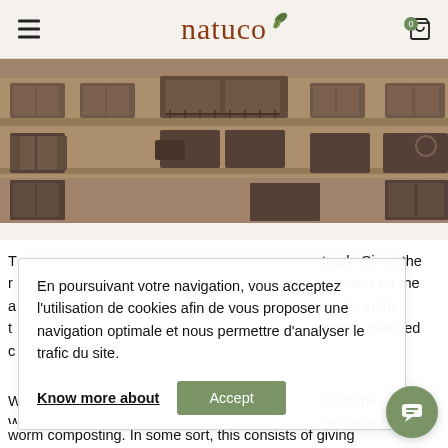natuco
[Figure (photo): Photograph of a Haussmann-style building facade with ornate balconies, shuttered windows, and classical architectural details, with a warm sepia/brown tone.]
track. Since the mposter for the waste in the osting changed
En poursuivant votre navigation, vous acceptez l'utilisation de cookies afin de vous proposer une navigation optimale et nous permettre d'analyser le trafic du site.
Know more about   Accept
lvantage us circle worm composting. In some sort, this consists of giving